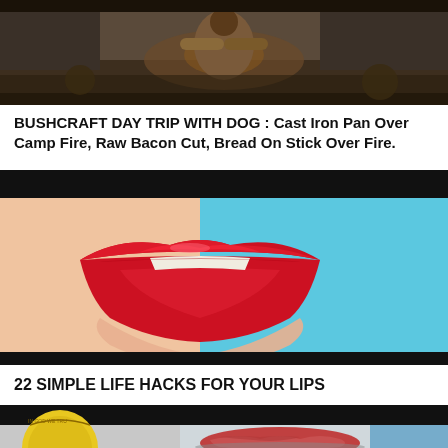[Figure (photo): Person crouching near a campfire outdoors in cold weather, wearing brown jacket and gloves]
BUSHCRAFT DAY TRIP WITH DOG : Cast Iron Pan Over Camp Fire, Raw Bacon Cut, Bread On Stick Over Fire.
[Figure (photo): Close-up of red lips with glossy lipstick against a split peach/blue background]
22 SIMPLE LIFE HACKS FOR YOUR LIPS
[Figure (photo): Partial view of a coin and raw ground meat in a pan, beginning of another video thumbnail]